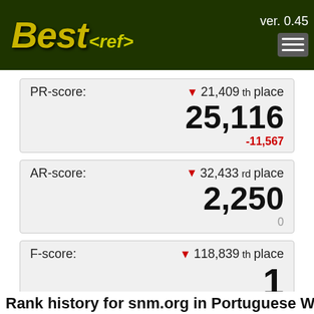Best<ref> ver. 0.45
PR-score: ▼ 21,409th place 25,116 -11,567
AR-score: ▼ 32,433rd place 2,250 0
F-score: ▼ 118,839th place 1 0
Rank history for snm.org in Portuguese Wikipedia